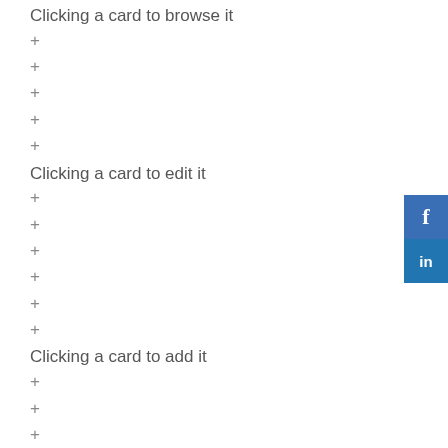Clicking a card to browse it
+
+
+
+
+
Clicking a card to edit it
+
+
+
+
+
+
Clicking a card to add it
+
+
+
+